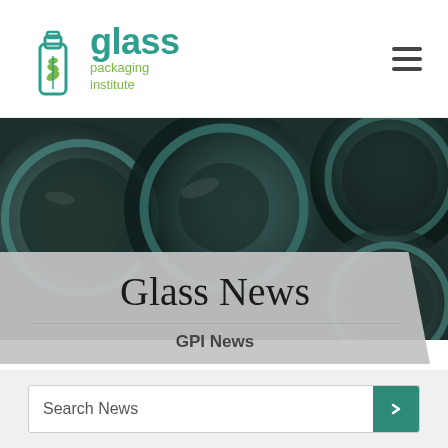[Figure (logo): Glass Packaging Institute logo with a bottle outline containing a leaf/wheat design in teal, and the text 'glass packaging institute' in teal and green]
[Figure (photo): Top-down view of multiple glass jar lids/rings in a dark, blurred background]
Glass News
GPI News
Search News